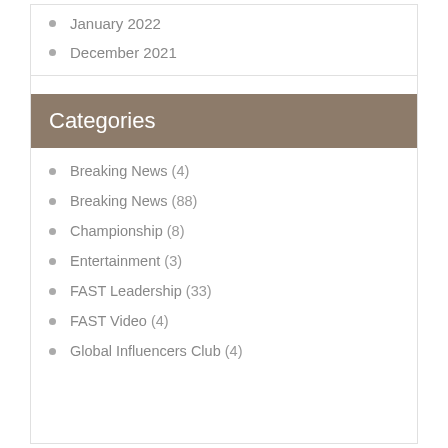January 2022
December 2021
Categories
Breaking News (4)
Breaking News (88)
Championship (8)
Entertainment (3)
FAST Leadership (33)
FAST Video (4)
Global Influencers Club (4)